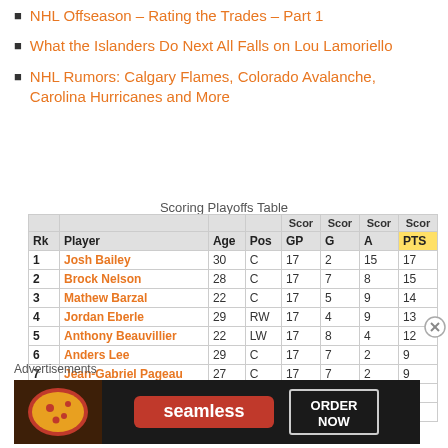NHL Offseason – Rating the Trades – Part 1
What the Islanders Do Next All Falls on Lou Lamoriello
NHL Rumors: Calgary Flames, Colorado Avalanche, Carolina Hurricanes and More
Scoring Playoffs Table
| Rk | Player | Age | Pos | GP | G | A | PTS |
| --- | --- | --- | --- | --- | --- | --- | --- |
| 1 | Josh Bailey | 30 | C | 17 | 2 | 15 | 17 |
| 2 | Brock Nelson | 28 | C | 17 | 7 | 8 | 15 |
| 3 | Mathew Barzal | 22 | C | 17 | 5 | 9 | 14 |
| 4 | Jordan Eberle | 29 | RW | 17 | 4 | 9 | 13 |
| 5 | Anthony Beauvillier | 22 | LW | 17 | 8 | 4 | 12 |
| 6 | Anders Lee | 29 | C | 17 | 7 | 2 | 9 |
| 7 | Jean-Gabriel Pageau | 27 | C | 17 | 7 | 2 | 9 |
| 8 | Derick Brassard | 32 | C | 14 | 2 | 6 | 8 |
| 9 | Ryan Pulock | 25 | D | 17 | 1 | 7 | 8 |
Advertisements